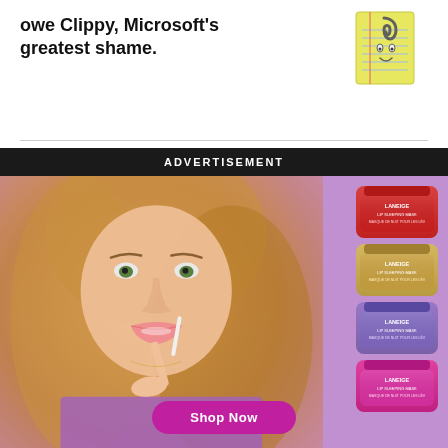owe Clippy, Microsoft's greatest shame.
[Figure (illustration): Clippy paperclip mascot illustration on yellow notepad background]
ADVERTISEMENT
[Figure (photo): Laneige advertisement showing blonde woman applying lip gloss on purple background with four Laneige lip mask product jars on the right side and a Shop Now button at the bottom]